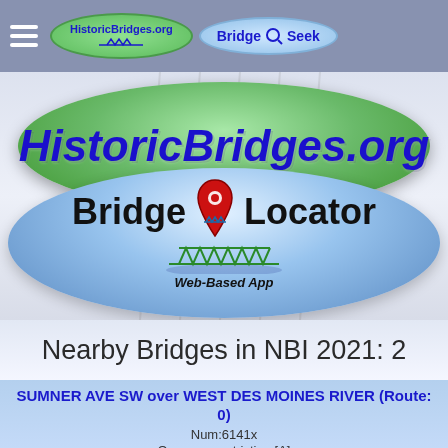HistoricBridges.org  Bridge Seek
[Figure (logo): HistoricBridges.org Bridge Locator Web-Based App logo with green oval and blue oval containing location pin and bridge icon]
Nearby Bridges in NBI 2021: 2
SUMNER AVE SW over WEST DES MOINES RIVER (Route: 0)
Num:6141x
Open: no restriction [A]
Built: 2015, Reconstructed: N/A [0000]